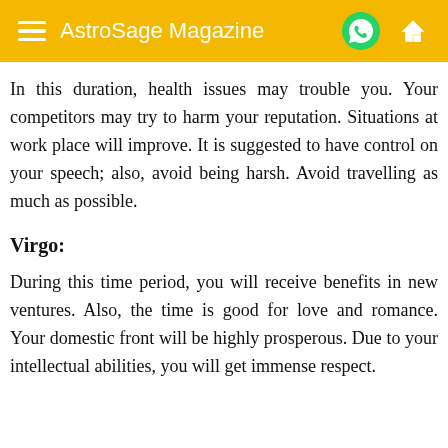AstroSage Magazine
In this duration, health issues may trouble you. Your competitors may try to harm your reputation. Situations at work place will improve. It is suggested to have control on your speech; also, avoid being harsh. Avoid travelling as much as possible.
Virgo:
During this time period, you will receive benefits in new ventures. Also, the time is good for love and romance. Your domestic front will be highly prosperous. Due to your intellectual abilities, you will get immense respect.